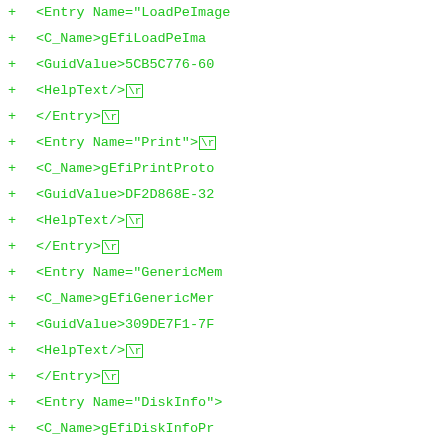diff view showing XML entries with + markers and \r carriage return indicators for LoadPeImage, Print, GenericMemory, DiskInfo, FvbExtension, FaultTolerance, and ConsoleControl entries